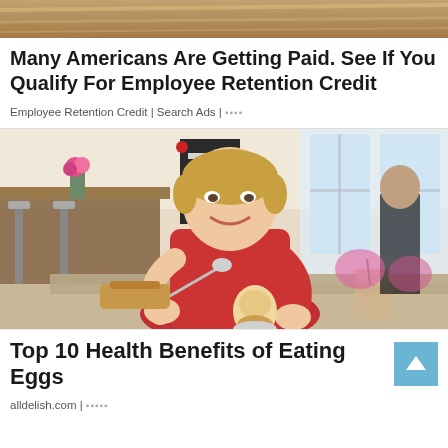[Figure (photo): Partial cropped image at top of page showing decorative background]
Many Americans Are Getting Paid. See If You Qualify For Employee Retention Credit
Employee Retention Credit | Search Ads | ▪▪▪▪
[Figure (photo): Woman in red top smiling at a café table, eating a soft-boiled egg with a spoon, drinks and breakfast food on table, café interior in background]
Top 10 Health Benefits of Eating Eggs
alldelish.com | ▪▪▪▪▪